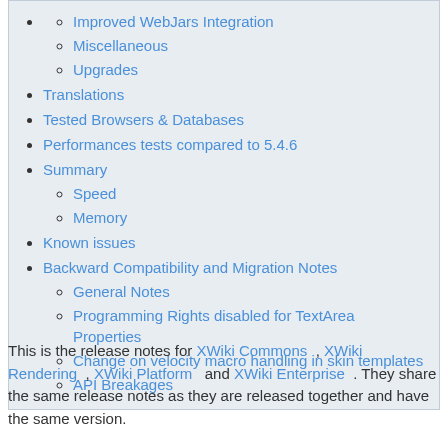Improved WebJars Integration
Miscellaneous
Upgrades
Translations
Tested Browsers & Databases
Performances tests compared to 5.4.6
Summary
Speed
Memory
Known issues
Backward Compatibility and Migration Notes
General Notes
Programming Rights disabled for TextArea Properties
Change on velocity macro handling in skin templates
API Breakages
This is the release notes for XWiki Commons , XWiki Rendering , XWiki Platform and XWiki Enterprise . They share the same release notes as they are released together and have the same version.